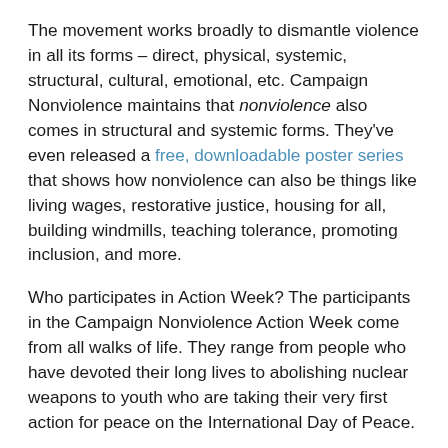The movement works broadly to dismantle violence in all its forms – direct, physical, systemic, structural, cultural, emotional, etc. Campaign Nonviolence maintains that nonviolence also comes in structural and systemic forms. They've even released a free, downloadable poster series that shows how nonviolence can also be things like living wages, restorative justice, housing for all, building windmills, teaching tolerance, promoting inclusion, and more.
Who participates in Action Week? The participants in the Campaign Nonviolence Action Week come from all walks of life. They range from people who have devoted their long lives to abolishing nuclear weapons to youth who are taking their very first action for peace on the International Day of Peace.
Some are members of faith congregations that have dedicated sermons to Just Peace Sunday. Others are